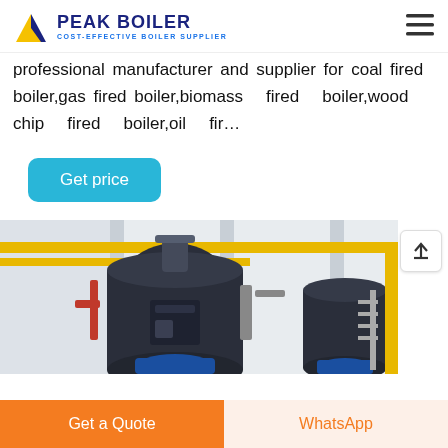PEAK BOILER - COST-EFFECTIVE BOILER SUPPLIER
professional manufacturer and supplier for coal fired boiler,gas fired boiler,biomass fired boiler,wood chip fired boiler,oil fir…
Get price
[Figure (photo): Industrial boiler room showing large dark cylindrical boilers with yellow pipes and blue motors in a white interior facility]
Get a Quote
WhatsApp